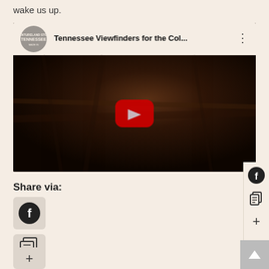wake us up.
[Figure (screenshot): YouTube video embed showing 'Tennessee Viewfinders for the Col...' with a dark aerial forest landscape thumbnail and a red play button in the center. Channel icon visible in top-left of player header.]
Share via:
[Figure (screenshot): Share via section with Facebook icon button, copy link icon button, and plus/more button. Sidebar on right with Facebook, copy, and plus icons. Scroll-to-top button at bottom right.]